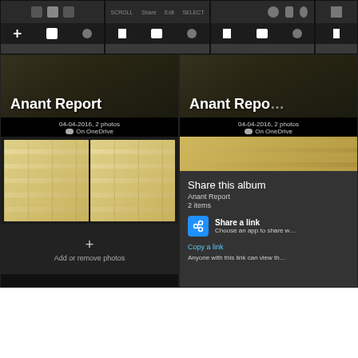[Figure (screenshot): Four small screenshot thumbnails of Windows 10 Photos app at the top, showing toolbar and navigation bar elements in dark theme.]
[Figure (screenshot): Left large screenshot: Windows 10 Photos app showing 'Anant Report' album. Shows album header with title, metadata '04-04-2016, 2 photos / On OneDrive', photo thumbnails of documents with yellow highlighting, and 'Add or remove photos' button at bottom.]
[Figure (screenshot): Right large screenshot: Same 'Anant Report' album with a 'Share this album' dialog overlay showing album name 'Anant Report', '2 items', a 'Share a link / Choose an app to share w...' option with blue icon, a 'Copy a link' link, and 'Anyone with this link can view th...' text.]